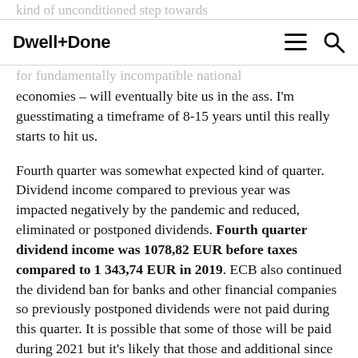Dwell+Done
economies – will eventually bite us in the ass. I'm guesstimating a timeframe of 8-15 years until this really starts to hit us.
Fourth quarter was somewhat expected kind of quarter. Dividend income compared to previous year was impacted negatively by the pandemic and reduced, eliminated or postponed dividends. Fourth quarter dividend income was 1078,82 EUR before taxes compared to 1 343,74 EUR in 2019. ECB also continued the dividend ban for banks and other financial companies so previously postponed dividends were not paid during this quarter. It is possible that some of those will be paid during 2021 but it's likely that those and additional since then cumulated profits